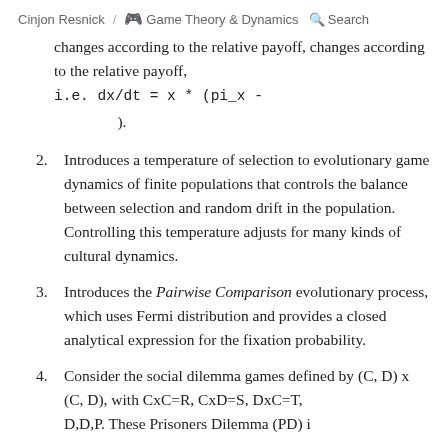Cinjon Resnick / 🎮 Game Theory & Dynamics  🔍 Search
changes according to the relative payoff, i.e. dx/dt = x * (pi_x - ).
2. Introduces a temperature of selection to evolutionary game dynamics of finite populations that controls the balance between selection and random drift in the population. Controlling this temperature adjusts for many kinds of cultural dynamics.
3. Introduces the Pairwise Comparison evolutionary process, which uses Fermi distribution and provides a closed analytical expression for the fixation probability.
4. Consider the social dilemma games defined by (C, D) x (C, D), with CxC=R, CxD=S, DxC=T, D,D=P. These Prisoners Dilemma (PD) ...